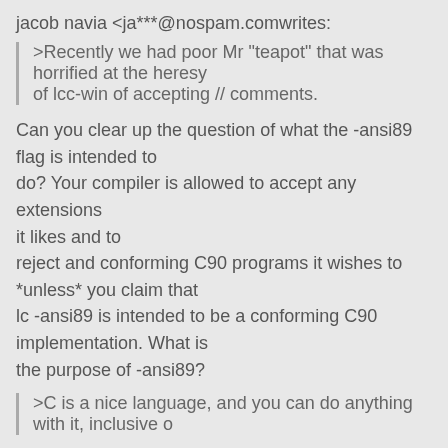jacob navia <ja***@nospam.comwrites:
>Recently we had poor Mr "teapot" that was horrified at the heresy
of lcc-win of accepting // comments.
Can you clear up the question of what the -ansi89 flag is intended to
do? Your compiler is allowed to accept any extensions it likes and to
reject and conforming C90 programs it wishes to *unless* you claim that
lc -ansi89 is intended to be a conforming C90 implementation. What is
the purpose of -ansi89?
>C is a nice language, and you can do anything
with it, inclusive o